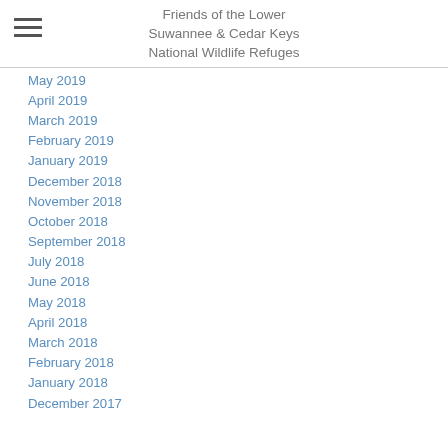Friends of the Lower Suwannee & Cedar Keys National Wildlife Refuges
May 2019
April 2019
March 2019
February 2019
January 2019
December 2018
November 2018
October 2018
September 2018
July 2018
June 2018
May 2018
April 2018
March 2018
February 2018
January 2018
December 2017